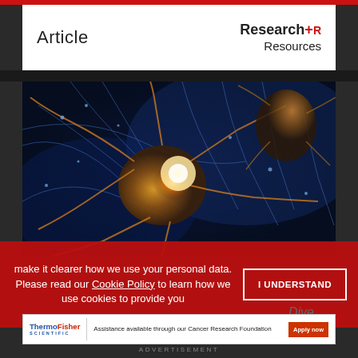Article
[Figure (photo): Close-up 3D rendering of neurons with glowing golden synaptic connections on a dark blue background, showing neural network with bright light burst at center]
make it clearer how we use your personal data.
Please read our Cookie Policy to learn how we use cookies to provide you
I UNDERSTAND
[Figure (logo): ThermoFisher Scientific logo with advertisement: Assistance available through our Cancer Research Foundation. Apply now button.]
ADVERTISEMENT